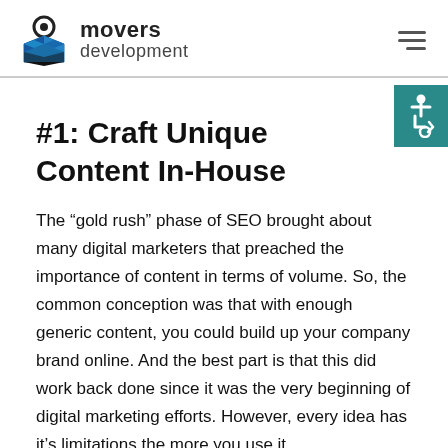movers development
#1: Craft Unique Content In-House
The “gold rush” phase of SEO brought about many digital marketers that preached the importance of content in terms of volume. So, the common conception was that with enough generic content, you could build up your company brand online. And the best part is that this did work back done since it was the very beginning of digital marketing efforts. However, every idea has it’s limitations the more you use it,